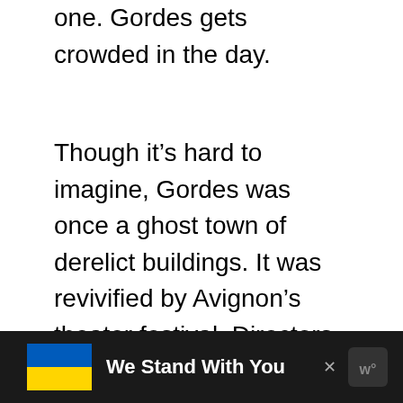one. Gordes gets crowded in the day.
Though it’s hard to imagine, Gordes was once a ghost town of derelict buildings. It was revivified by Avignon’s theater festival. Directors clamored to find picture- perfect Provencal villages for their films.
[Figure (other): Advertisement banner with Ukrainian flag colors (blue and yellow), bold white text reading 'We Stand With You', a close button (x), and a media logo on dark background.]